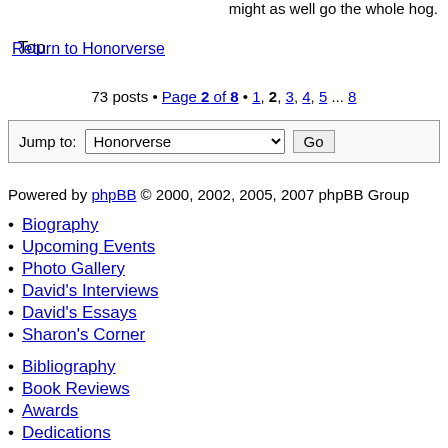might as well go the whole hog.
Top
73 posts • Page 2 of 8 • 1, 2, 3, 4, 5 ... 8
Return to Honorverse
Jump to: Honorverse Go
Powered by phpBB © 2000, 2002, 2005, 2007 phpBB Group
Biography
Upcoming Events
Photo Gallery
David's Interviews
David's Essays
Sharon's Corner
Bibliography
Book Reviews
Awards
Dedications
Red Shirts
Upcoming Releases
General
Empire of Man
Honorverse